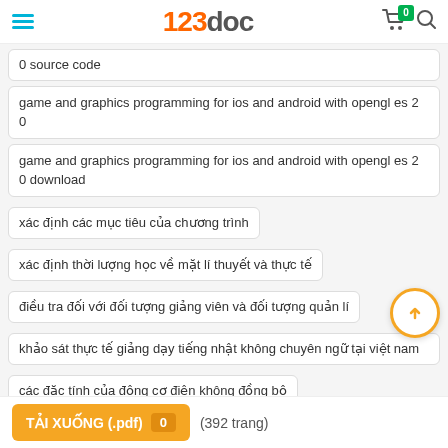123doc
0 source code
game and graphics programming for ios and android with opengl es 2 0
game and graphics programming for ios and android with opengl es 2 0 download
xác định các mục tiêu của chương trình
xác định thời lượng học về mặt lí thuyết và thực tế
điều tra đối với đối tượng giảng viên và đối tượng quản lí
khảo sát thực tế giảng dạy tiếng nhật không chuyên ngữ tại việt nam
các đặc tính của động cơ điện không đồng bộ
TẢI XUỐNG (.pdf)  0  (392 trang)